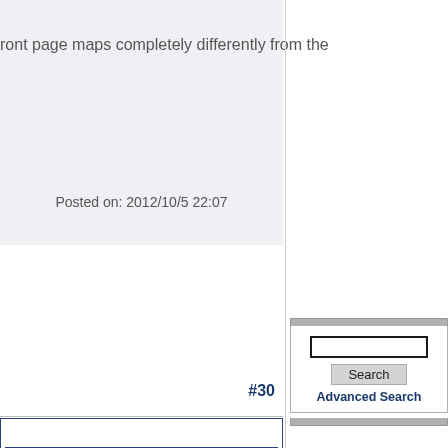ront page maps completely differently from the
Posted on: 2012/10/5 22:07
#30
ecting a few antecdotal
ing somehow Monmouth is
untown.
2. For your pleasure I have
lf of 2011!
[Figure (screenshot): Search box with text input field, Search button, and Advanced Search link in right sidebar]